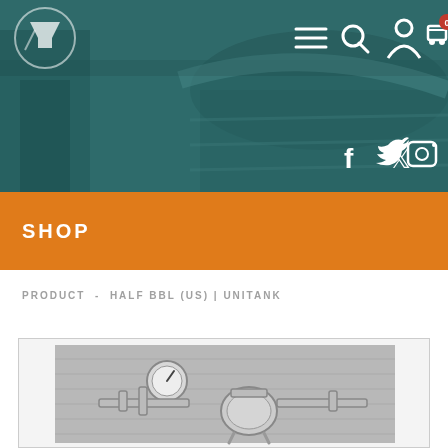[Figure (photo): Website header with teal-tinted brewery equipment background image showing barrels and brewing tanks. Navigation bar at top with logo, hamburger menu, search, account, and cart icons. Social media icons (Facebook, Twitter, Instagram) at bottom right.]
SHOP
PRODUCT  -  HALF BBL (US) | UNITANK
[Figure (photo): Product image of a half barrel unitank brewing equipment piece — stainless steel pressure/fermentation unit with gauges and fittings, shown on a grey background.]